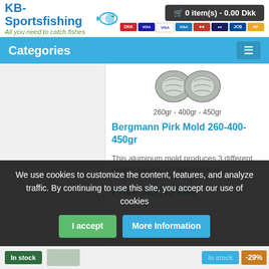KB-Sportsfishing — All you need to catch fishes
0 item(s) - 0.00 Dkk
Categories
[Figure (photo): Product image of Bergmann Pirk Mold 260-400-450gr aluminum mold showing three weight cavities]
260gr - 400gr - 450gr
Bergmann Pirk Mold 260-400-450gr
This aluminum mold produces 3 different weight classes of Bergmann pir..
Price 329,95 Dkk
We use cookies to customize the content, features, and analyze traffic. By continuing to use this site, you accept our use of cookies
I accept
More Information